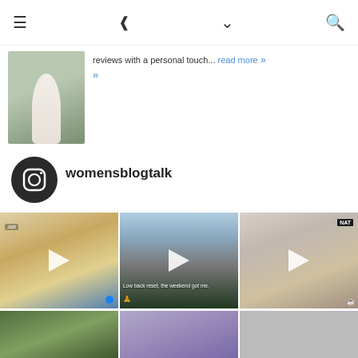≡  ⎘  ∨  🔍
[Figure (photo): Preview image of a person in white dress outdoors with greenery background]
reviews with a personal touch... read more »
[Figure (logo): Instagram logo icon (white camera icon on dark circle)]
womensblogtalk
[Figure (photo): Instagram grid video thumbnail 1: smoothie/drink ingredients on counter with play button]
[Figure (photo): Instagram grid video thumbnail 2: person doing yoga/stretching on mat on balcony, text overlay 'Low back reset, the weekend got me.' with play button]
[Figure (photo): Instagram grid video thumbnail 3: NAT supplement product with glass of drink, play button]
[Figure (photo): Instagram grid bottom row partial thumbnails]